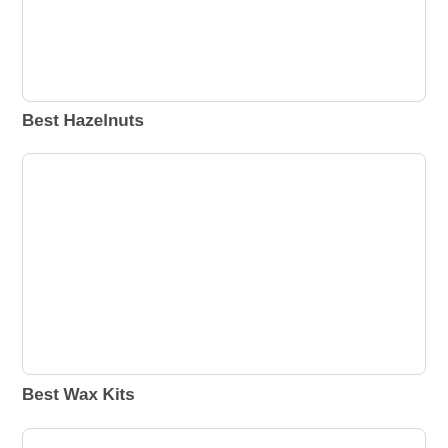[Figure (other): Empty rounded rectangle image placeholder box at top of page]
Best Hazelnuts
[Figure (other): Empty rounded rectangle image placeholder box in middle of page]
Best Wax Kits
[Figure (other): Empty rounded rectangle image placeholder box partially visible at bottom of page]